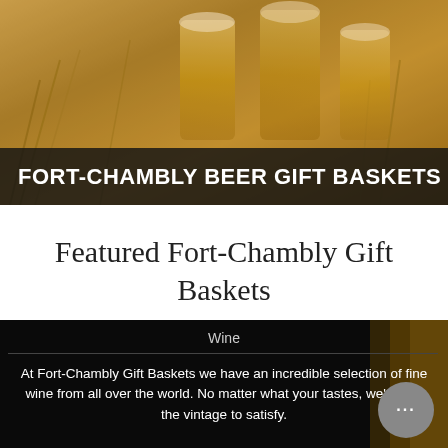[Figure (photo): Close-up photo of beer glasses and wheat/barley on a wooden surface, with warm amber tones]
FORT-CHAMBLY BEER GIFT BASKETS
Featured Fort-Chambly Gift Baskets
[Figure (photo): Dark background with beer glasses visible on the right side]
Wine
At Fort-Chambly Gift Baskets we have an incredible selection of fine wine from all over the world. No matter what your tastes, we've got the vintage to satisfy.